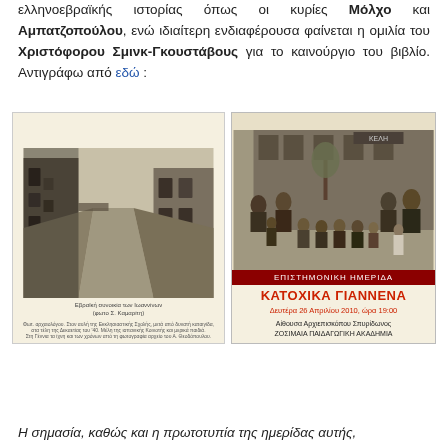ελληνοεβραϊκής ιστορίας όπως οι κυρίες Μόλχο και Αμπατζοπούλου, ενώ ιδιαίτερη ενδιαφέρουσα φαίνεται η ομιλία του Χριστόφορου Σμινκ-Γκουστάβους για το καινούργιο του βιβλίο. Αντιγράφω από εδώ :
[Figure (photo): Two book/event covers side by side. Left: a vintage black-and-white photograph of a narrow street with old buildings. Right: a black-and-white group photo of children and adults with event details for 'ΚΑΤΟΧΙΚΑ ΓΙΑΝΝΕΝΑ' conference on Monday 26 April 2010 at 19:00.]
Η σημασία, καθώς και η πρωτοτυπία της ημερίδας αυτής,